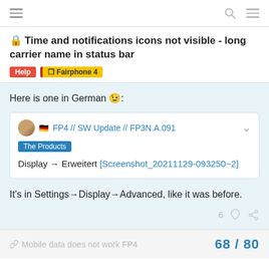navigation bar with menu, search, and options icons
🔒 Time and notifications icons not visible - long carrier name in status bar
Tags: Help  Fairphone 4
Here is one in German 😉:
FP4 // SW Update // FP3N.A.091 — The Products — Display → Erweitert [Screenshot_20211129-093250~2]
It's in Settings→Display→Advanced, like it was before.
🔗 Mobile data does not work FP4   68 / 80